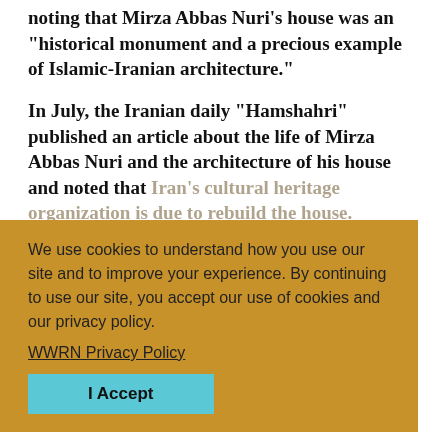noting that Mirza Abbas Nuri's house was an "historical monument and a precious example of Islamic-Iranian architecture."
In July, the Iranian daily "Hamshahri" published an article about the life of Mirza Abbas Nuri and the architecture of his house and noted that Iran's cultural heritage organization is due to rebuild the house.
There has been no official reaction by the Iranian government.
On 2 December, Iran's Baha'i community, in a letter to Iranian President Mohammad Khatami, called for their human rights to be respected.
We use cookies to understand how you use our site and to improve your experience. By continuing to use our site, you accept our use of cookies and our privacy policy.
WWRN Privacy Policy
I Accept